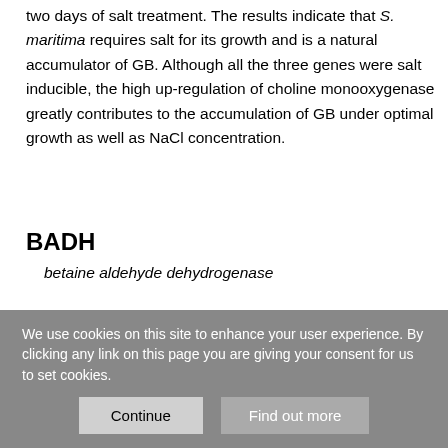two days of salt treatment. The results indicate that S. maritima requires salt for its growth and is a natural accumulator of GB. Although all the three genes were salt inducible, the high up-regulation of choline monooxygenase greatly contributes to the accumulation of GB under optimal growth as well as NaCl concentration.
BADH
betaine aldehyde dehydrogenase
CMO
choline monooxygenase
We use cookies on this site to enhance your user experience. By clicking any link on this page you are giving your consent for us to set cookies.